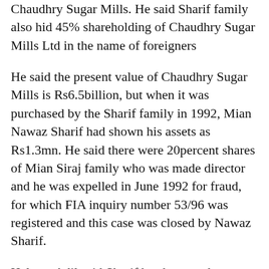Chaudhry Sugar Mills. He said Sharif family also hid 45% shareholding of Chaudhry Sugar Mills Ltd in the name of foreigners
He said the present value of Chaudhry Sugar Mills is Rs6.5billion, but when it was purchased by the Sharif family in 1992, Mian Nawaz Sharif had shown his assets as Rs1.3mn. He said there were 20percent shares of Mian Siraj family who was made director and he was expelled in June 1992 for fraud, for which FIA inquiry number 53/96 was registered and this case was closed by Nawaz Sharif.
Haleem Adil said Sharif brothers made corruption in the name of fake loans and invested money in Chaudhry sugar mills. He said money laundering funds were sent to UAE and again invested in Chaudhry sugar mills as foreign investment. He said Zardari and Nawaz are experts of fake